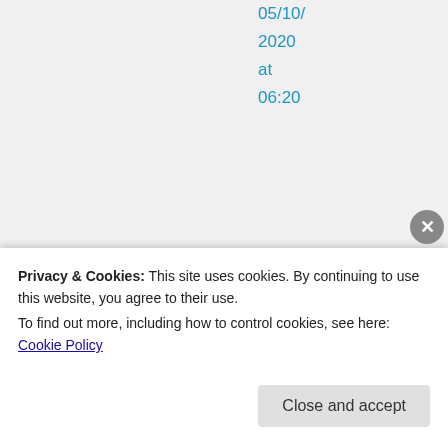05/10/2020 at 06:20
👍 0 👎
0
[Figure (infographic): Blue info icon circle]
Rate This
[Figure (infographic): Four emoji faces: 😄😄 / 😄😍]
Privacy & Cookies: This site uses cookies. By continuing to use this website, you agree to their use.
To find out more, including how to control cookies, see here: Cookie Policy
Close and accept